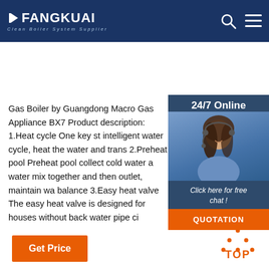FANGKUAI Clean Boiler System Supplier
[Figure (other): 24/7 online customer support sidebar with photo of smiling woman with headset, 'Click here for free chat!' text, and QUOTATION orange button]
Gas Boiler by Guangdong Macro Gas Appliance BX7 Product description: 1.Heat cycle One key st intelligent water cycle, heat the water and trans 2.Preheat pool Preheat pool collect cold water a water mix together and then outlet, maintain wa balance 3.Easy heat valve The easy heat valve is designed for houses without back water pipe ci
Get Price
[Figure (illustration): Orange dotted triangle TOP back-to-top button icon with the word TOP in orange below it]